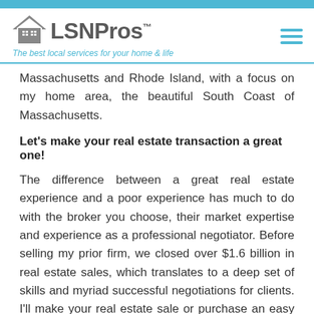LSNPros™ — The best local services for your home & life
Massachusetts and Rhode Island, with a focus on my home area, the beautiful South Coast of Massachusetts.
Let's make your real estate transaction a great one!
The difference between a great real estate experience and a poor experience has much to do with the broker you choose, their market expertise and experience as a professional negotiator. Before selling my prior firm, we closed over $1.6 billion in real estate sales, which translates to a deep set of skills and myriad successful negotiations for clients. I'll make your real estate sale or purchase an easy and efficient process, coordinating all aspects of the transaction for you, so there aren't any problems or stress points to keep you up at night. My process of assisting in buying or selling is much less stressful than what buyers and sellers typically